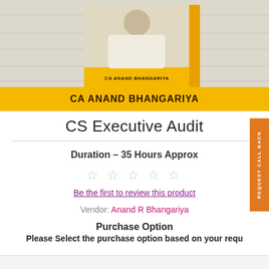[Figure (photo): Book/course product image showing CA Anand Bhangariya with a yellow banner displaying the name CA ANAND BHANGARIYA at the bottom]
CS Executive Audit
Duration – 35 Hours Approx
☆ ☆ ☆ ☆ ☆
Be the first to review this product
Vendor: Anand R Bhangariya
Purchase Option
Please Select the purchase option based on your requ